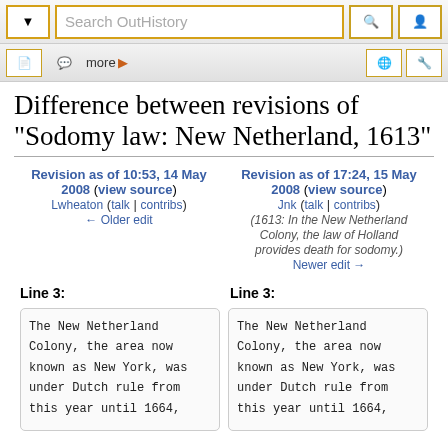[Figure (screenshot): Website navigation bar with dropdown button, search box labeled 'Search OutHistory', search icon button, and user icon button]
[Figure (screenshot): Secondary toolbar with document icon, chat icon, 'more' button with arrow, globe icon, and tools icon]
Difference between revisions of "Sodomy law: New Netherland, 1613"
Revision as of 10:53, 14 May 2008 (view source)
Lwheaton (talk | contribs)
← Older edit
Revision as of 17:24, 15 May 2008 (view source)
Jnk (talk | contribs)
(1613: In the New Netherland Colony, the law of Holland provides death for sodomy.)
Newer edit →
Line 3:
Line 3:
The New Netherland Colony, the area now known as New York, was under Dutch rule from this year until 1664,
The New Netherland Colony, the area now known as New York, was under Dutch rule from this year until 1664,